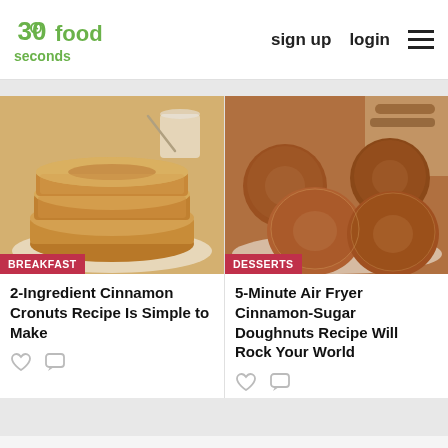30 seconds food | sign up | login
[Figure (screenshot): Screenshot of a food website showing two recipe cards: left card shows stacked cinnamon cronuts with BREAKFAST badge, right card shows cinnamon-sugar doughnuts with DESSERTS badge]
2-Ingredient Cinnamon Cronuts Recipe Is Simple to Make
5-Minute Air Fryer Cinnamon-Sugar Doughnuts Recipe Will Rock Your World